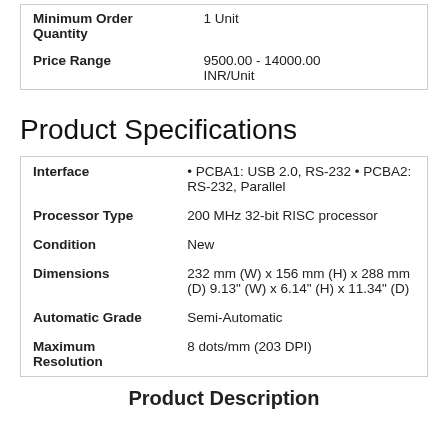| Minimum Order Quantity | 1 Unit |
| Price Range | 9500.00 - 14000.00 INR/Unit |
Product Specifications
| Interface | • PCBA1: USB 2.0, RS-232 • PCBA2: RS-232, Parallel |
| Processor Type | 200 MHz 32-bit RISC processor |
| Condition | New |
| Dimensions | 232 mm (W) x 156 mm (H) x 288 mm (D) 9.13" (W) x 6.14" (H) x 11.34" (D) |
| Automatic Grade | Semi-Automatic |
| Maximum Resolution | 8 dots/mm (203 DPI) |
Product Description